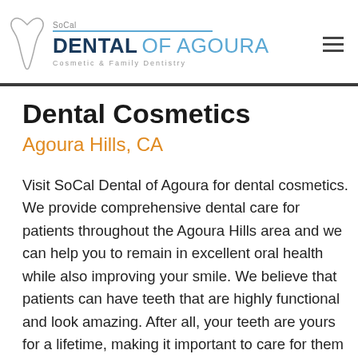SoCal DENTAL OF AGOURA — Cosmetic & Family Dentistry
Dental Cosmetics
Agoura Hills, CA
Visit SoCal Dental of Agoura for dental cosmetics. We provide comprehensive dental care for patients throughout the Agoura Hills area and we can help you to remain in excellent oral health while also improving your smile. We believe that patients can have teeth that are highly functional and look amazing. After all, your teeth are yours for a lifetime, making it important to care for them and enjoy the way they look. To schedule a consultation to discuss